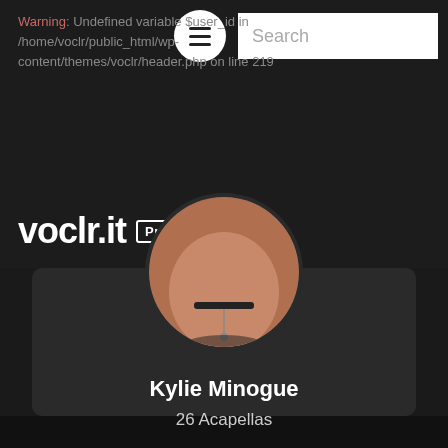Warning: Undefined variable $user_id in /home/voclr/public_html/wp-content/themes/voclr/header.php on line 219
voclr.it Pro
[Figure (photo): Circular profile photo of Kylie Minogue showing neck and lower face with choker necklace]
Kylie Minogue
26 Acapellas
View Acapellas